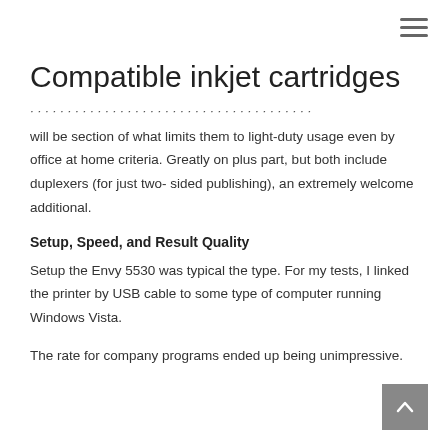Compatible inkjet cartridges
will be section of what limits them to light-duty usage even by office at home criteria. Greatly on plus part, but both include duplexers (for just two- sided publishing), an extremely welcome additional.
Setup, Speed, and Result Quality
Setup the Envy 5530 was typical the type. For my tests, I linked the printer by USB cable to some type of computer running Windows Vista.
The rate for company programs ended up being unimpressive.